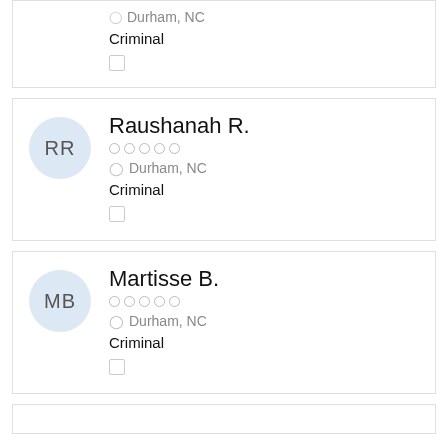Durham, NC | Criminal
Raushanah R. | Durham, NC | Criminal
Martisse B. | Durham, NC | Criminal
(partial card at bottom)